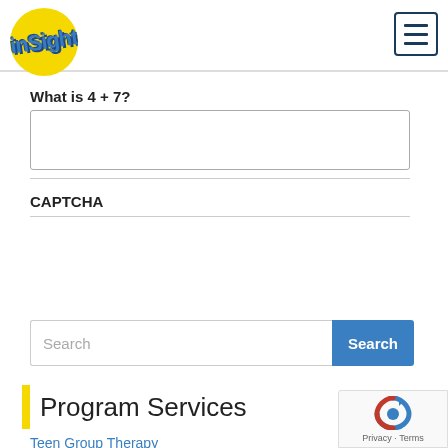inSight logo and hamburger menu
What is 4 + 7?
CAPTCHA
Search
Program Services
Teen Group Therapy